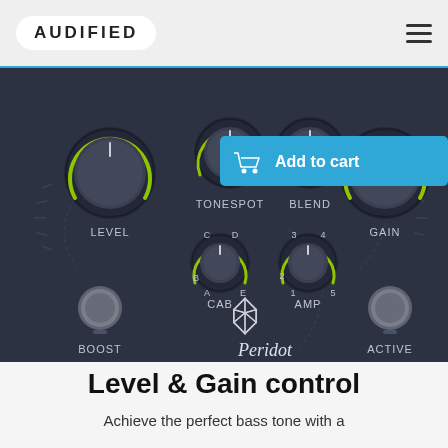AUDIFIED
[Figure (photo): Peridot Mid-Gain Bass Module hardware device with knobs labeled LEVEL, TONESPOT, BLEND, GAIN, CAB (with positions A-E), AMP (with positions 1-5), and buttons for BOOST and ACTIVE. An 'Add to cart' button with shopping cart icon overlays the top-right corner of the image.]
Level & Gain control
Achieve the perfect bass tone with a